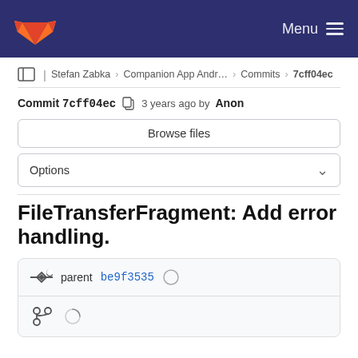Menu
Stefan Zabka > Companion App Andr... > Commits > 7cff04ec
Commit 7cff04ec  3 years ago by Anon
Browse files
Options
FileTransferFragment: Add error handling.
parent be9f3535